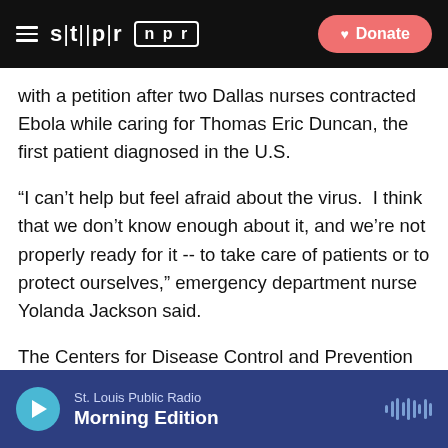STLPR NPR — Donate
with a petition after two Dallas nurses contracted Ebola while caring for Thomas Eric Duncan, the first patient diagnosed in the U.S.
“I can’t help but feel afraid about the virus.  I think that we don’t know enough about it, and we’re not properly ready for it -- to take care of patients or to protect ourselves,” emergency department nurse Yolanda Jackson said.
The Centers for Disease Control and Prevention have issued more stringent guidelines for hospitals preparing for potential patients with Ebola, but NNU says they do not go far enough.
St. Louis Public Radio — Morning Edition